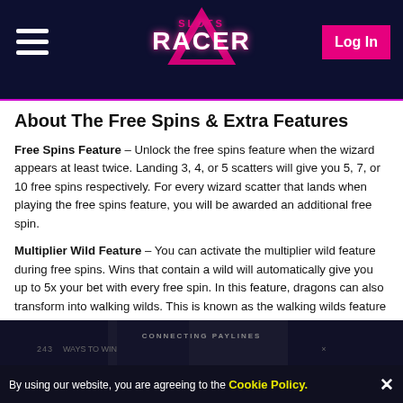Slots Racer — Log In
About The Free Spins & Extra Features
Free Spins Feature – Unlock the free spins feature when the wizard appears at least twice. Landing 3, 4, or 5 scatters will give you 5, 7, or 10 free spins respectively. For every wizard scatter that lands when playing the free spins feature, you will be awarded an additional free spin.
Multiplier Wild Feature – You can activate the multiplier wild feature during free spins. Wins that contain a wild will automatically give you up to 5x your bet with every free spin. In this feature, dragons can also transform into walking wilds. This is known as the walking wilds feature and it sees the dragon flying across the reels spreading multipliers.
[Figure (screenshot): Game screenshot showing slot machine reels with 'CONNECTING PAYLINES' text and '243 WAYS TO WIN' overlay]
By using our website, you are agreeing to the Cookie Policy.